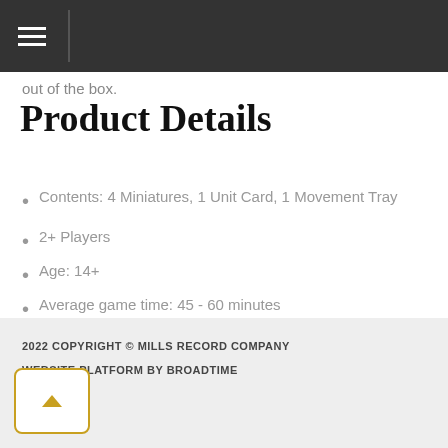out of the box.
Product Details
Contents: 4 Miniatures, 1 Unit Card, 1 Movement Tray
2+ Players
Age: 14+
Average game time: 45 - 60 minutes
Dimensions: 9 x 6 x 2.5 in
Country of origin: China
2022 COPYRIGHT © MILLS RECORD COMPANY
WEBSITE PLATFORM BY BROADTIME